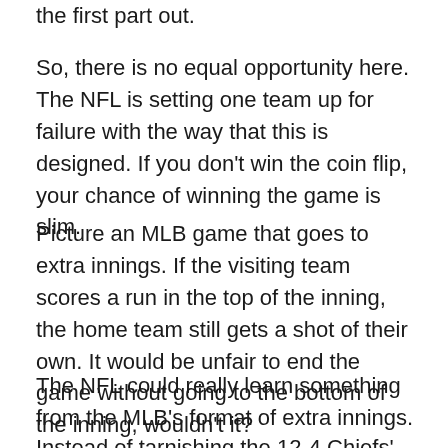the first part out.
So, there is no equal opportunity here. The NFL is setting one team up for failure with the way that this is designed. If you don't win the coin flip, your chance of winning the game is slim.
Picture an MLB game that goes to extra innings. If the visiting team scores a run in the top of the inning, the home team still gets a shot of their own. It would be unfair to end the game without going to the bottom of the inning, wouldn't it?
The NFL could really learn something from the MLB's format of extra innings.
Instead of tarnishing the 12-4 Chiefs' season and epic comeback in the AFC Championship with the flip of a coin, the